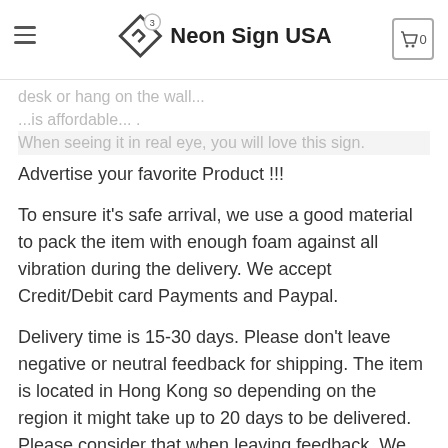Neon Sign USA
desk or hang on the wall...
...is affordable... .
When seeing it in real eye, you will love this sign.
Advertise your favorite Product !!!
To ensure it’s safe arrival, we use a good material to pack the item with enough foam against all vibration during the delivery. We accept Credit/Debit card Payments and Paypal.
Delivery time is 15-30 days. Please don’t leave negative or neutral feedback for shipping. The item is located in Hong Kong so depending on the region it might take up to 20 days to be delivered. Please consider that when leaving feedback. We take returns within 1 month for full refund.
Please tell us your idea or send us your picture/LOGO,we can make free design for you after your payment!! Please feel free to contact us with any questions or concerns ...